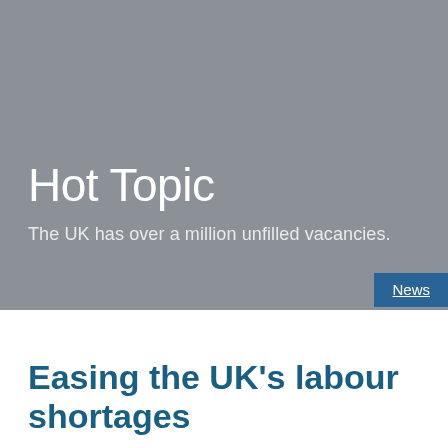[Figure (photo): Grey banner background for Hot Topic section]
Hot Topic
The UK has over a million unfilled vacancies.
News
Easing the UK's labour shortages